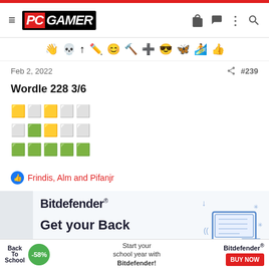PC GAMER
[Figure (infographic): Toolbar with emoji/game icons]
Feb 2, 2022   #239
Wordle 228 3/6
🟨⬜🟨⬜⬜
⬜🟩🟨⬜⬜
🟩🟩🟩🟩🟩
👍 Frindis, Alm and Pifanjr
[Figure (photo): Bitdefender advertisement - Get your Back to School deal -58% off, Start your school year with Bitdefender! BUY NOW]